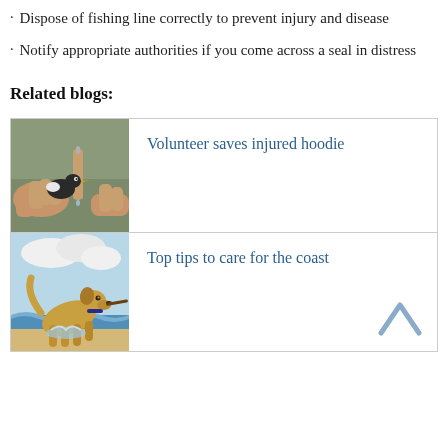Dispose of fishing line correctly to prevent injury and disease
Notify appropriate authorities if you come across a seal in distress
Related blogs:
[Figure (photo): Hands holding and treating a small injured bird (hoodie/plover) with a dropper]
Volunteer saves injured hoodie
[Figure (photo): A golden labrador dog running on the beach carrying a stick in the water]
Top tips to care for the coast